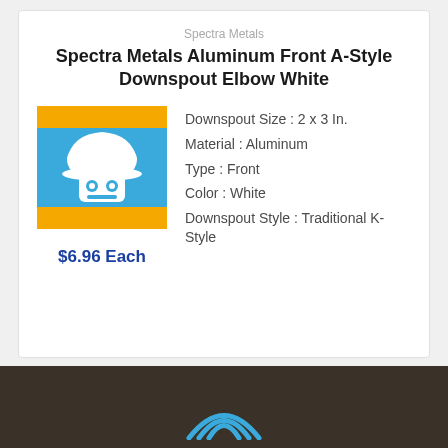Spectra Metals
Spectra Metals Aluminum Front A-Style Downspout Elbow White
[Figure (logo): Product image: blue and yellow square icon with white hard hat robot mascot logo]
$6.96 Each
Downspout Size : 2 x 3 In.
Material : Aluminum
Type : Front
Color : White
Downspout Style : Traditional K-Style
[Figure (logo): Partial logo visible at bottom of page on dark brown footer bar]